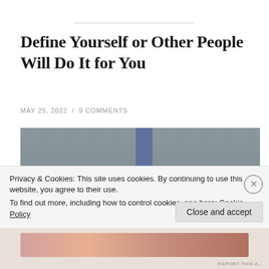Define Yourself or Other People Will Do It for You
MAY 25, 2022 / 9 COMMENTS
[Figure (photo): Three hands pointing fingers toward a small person crouched below, on a grey background]
Privacy & Cookies: This site uses cookies. By continuing to use this website, you agree to their use.
To find out more, including how to control cookies, see here: Cookie Policy
Close and accept